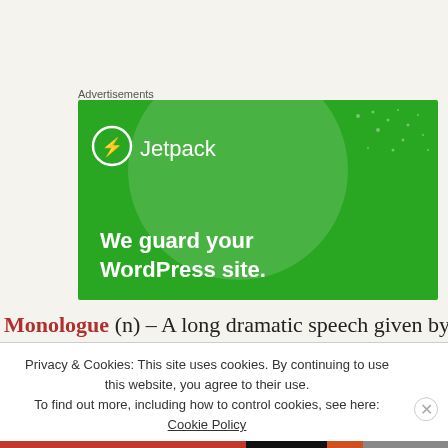Advertisements
[Figure (illustration): Jetpack advertisement banner with green background, large white circle, dot pattern, Jetpack logo with lightning bolt icon, and tagline 'We guard your WordPress site.']
Monologue (n) – A long dramatic speech given by a
Privacy & Cookies: This site uses cookies. By continuing to use this website, you agree to their use.
To find out more, including how to control cookies, see here: Cookie Policy
Close and accept